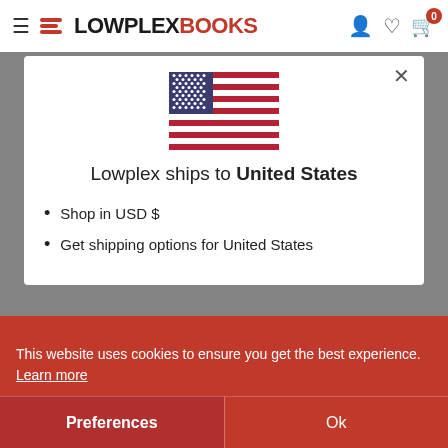LOWPLEXBOOKS — navigation bar
[Figure (screenshot): US Flag icon in modal dialog]
Lowplex ships to United States
Shop in USD $
Get shipping options for United States
This website uses cookies to ensure you get the best experience. Learn more
Preferences
Ok